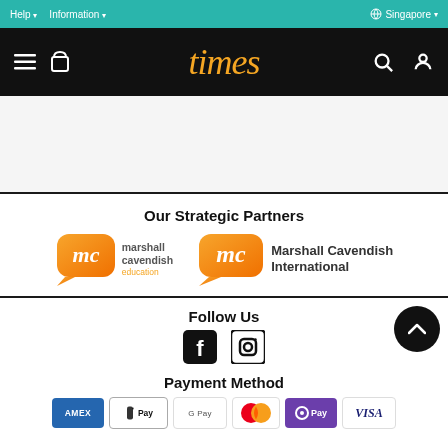Help  Information  Singapore
[Figure (logo): Times bookstore logo in orange italic script on black navigation bar]
Our Strategic Partners
[Figure (logo): Marshall Cavendish Education logo - orange speech bubble with 'mc' and text 'marshall cavendish education']
[Figure (logo): Marshall Cavendish International logo - orange speech bubble with 'mc' and text 'Marshall Cavendish International']
Follow Us
[Figure (illustration): Facebook and Instagram social media icons]
Payment Method
[Figure (illustration): Payment method icons: AMEX, Apple Pay, Google Pay, Mastercard, OPay, Visa]